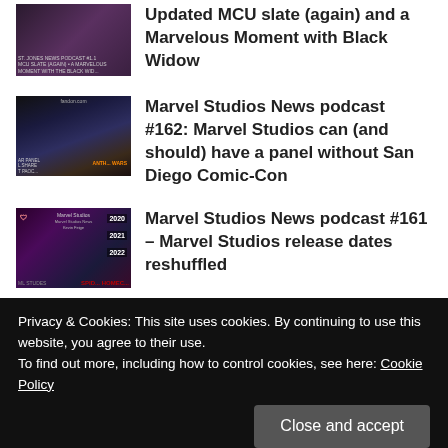[Figure (photo): Thumbnail image for MCU slate podcast article with Black Widow]
Updated MCU slate (again) and a Marvelous Moment with Black Widow
[Figure (photo): Thumbnail image for Marvel Studios News podcast #162 about San Diego Comic-Con]
Marvel Studios News podcast #162: Marvel Studios can (and should) have a panel without San Diego Comic-Con
[Figure (photo): Thumbnail image for Marvel Studios News podcast #161 about release dates with 2020/2021/2022 schedule]
Marvel Studios News podcast #161 – Marvel Studios release dates reshuffled
Privacy & Cookies: This site uses cookies. By continuing to use this website, you agree to their use.
To find out more, including how to control cookies, see here: Cookie Policy
Close and accept
INFINITY WAR MERCHANDISE